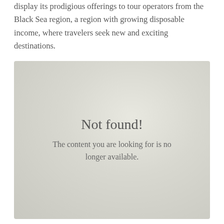display its prodigious offerings to tour operators from the Black Sea region, a region with growing disposable income, where travelers seek new and exciting destinations.
[Figure (screenshot): A gray gradient placeholder image showing a 'Not found!' error message. The main heading reads 'Not found!' and below it states 'The content you are looking for is no longer available.']